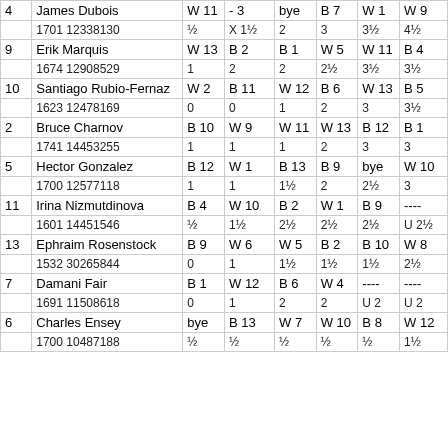| # | Name / ID | Rd 1 | Rd 2 | Rd 3 | Rd 4 | Rd 5 | Rd 6 |
| --- | --- | --- | --- | --- | --- | --- | --- |
| 4 | James Dubois | W 11 | - 3 | bye | B 7 | W 1 | W 9 |
|  | 1701 12338130 | ½ | X 1½ | 2 | 3 | 3½ | 4½ |
| 9 | Erik Marquis | W 13 | B 2 | B 1 | W 5 | W 11 | B 4 |
|  | 1674 12908529 | 1 | 2 | 2 | 2½ | 3½ | 3½ |
| 10 | Santiago Rubio-Fernaz | W 2 | B 11 | W 12 | B 6 | W 13 | B 5 |
|  | 1623 12478169 | 0 | 0 | 1 | 2 | 3 | 3½ |
| 2 | Bruce Charnov | B 10 | W 9 | W 11 | W 13 | B 12 | B 1 |
|  | 1741 14453255 | 1 | 1 | 1 | 2 | 3 | 3 |
| 5 | Hector Gonzalez | B 12 | W 1 | B 13 | B 9 | bye | W 10 |
|  | 1700 12577118 | 1 | 1 | 1½ | 2 | 2½ | 3 |
| 11 | Irina Nizmutdinova | B 4 | W 10 | B 2 | W 1 | B 9 | ---- |
|  | 1601 14451546 | ½ | 1½ | 2½ | 2½ | 2½ | U 2½ |
| 13 | Ephraim Rosenstock | B 9 | W 6 | W 5 | B 2 | B 10 | W 8 |
|  | 1532 30265844 | 0 | 1 | 1½ | 1½ | 1½ | 2½ |
| 7 | Damani Fair | B 1 | W 12 | B 6 | W 4 | ---- | ---- |
|  | 1691 11508618 | 0 | 1 | 2 | 2 | U 2 | U 2 |
| 6 | Charles Ensey | bye | B 13 | W 7 | W 10 | B 8 | W 12 |
|  | 1700 10487188 | ½ | ½ | ½ | ½ | ½ | 1½ |